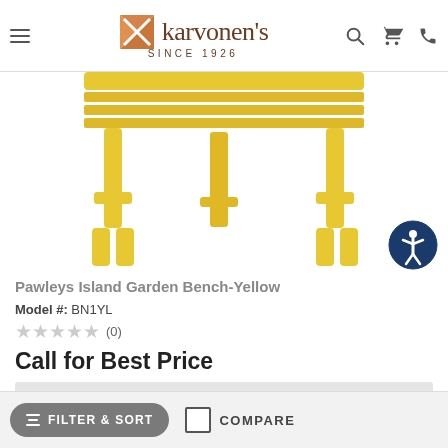[Figure (logo): Karvonen's logo with orange/brown geometric icon and text 'karvonen's SINCE 1926']
[Figure (photo): Yellow wooden garden bench (Pawleys Island Garden Bench-Yellow), showing legs and bottom structure, cropped]
Pawleys Island Garden Bench-Yellow
Model #: BN1YL
★★★★★ (0)
Call for Best Price
VIEW
FILTER & SORT
COMPARE